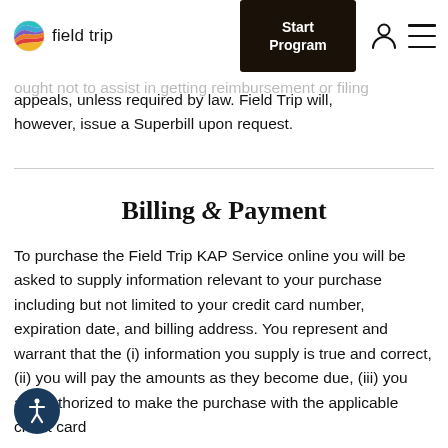field trip | Start Program
reimbursement under third party insurance or other
appeals, unless required by law. Field Trip will, however, issue a Superbill upon request.
Billing & Payment
To purchase the Field Trip KAP Service online you will be asked to supply information relevant to your purchase including but not limited to your credit card number, expiration date, and billing address. You represent and warrant that the (i) information you supply is true and correct, (ii) you will pay the amounts as they become due, (iii) you are authorized to make the purchase with the applicable credit card